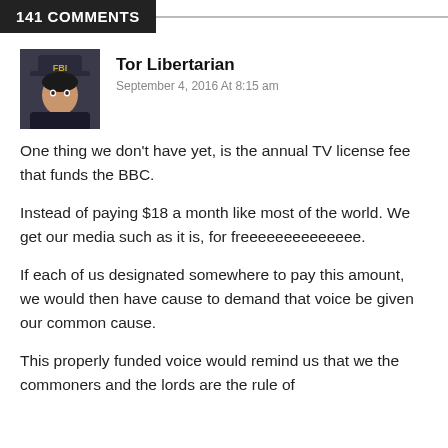141 COMMENTS
Tor Libertarian
September 4, 2016 At 8:15 am
One thing we don't have yet, is the annual TV license fee that funds the BBC.
Instead of paying $18 a month like most of the world. We get our media such as it is, for freeeeeeeeeeeeee.
If each of us designated somewhere to pay this amount, we would then have cause to demand that voice be given our common cause.
This properly funded voice would remind us that we the commoners and the lords are the rule of